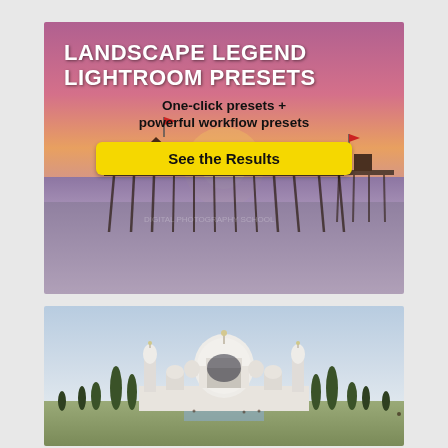[Figure (infographic): Advertisement banner for 'Landscape Legend Lightroom Presets' showing a pier at sunset with pink/purple sky. Text overlay reads 'LANDSCAPE LEGEND LIGHTROOM PRESETS', 'One-click presets + powerful workflow presets', and a yellow button 'See the Results'.]
[Figure (photo): Photograph of the Taj Mahal in Agra, India. The white marble mausoleum is centered with its large dome and four minarets. Cypress trees line the approach and a reflecting pool is visible. The sky is light blue and hazy.]